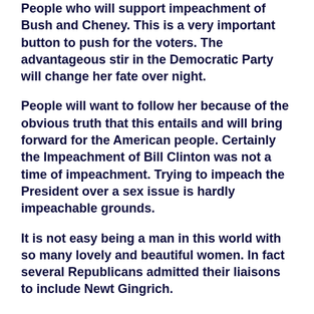People who will support impeachment of Bush and Cheney. This is a very important button to push for the voters. The advantageous stir in the Democratic Party will change her fate over night.
People will want to follow her because of the obvious truth that this entails and will bring forward for the American people. Certainly the Impeachment of Bill Clinton was not a time of impeachment. Trying to impeach the President over a sex issue is hardly impeachable grounds.
It is not easy being a man in this world with so many lovely and beautiful women. In fact several Republicans admitted their liaisons to include Newt Gingrich.
In fact it is a curse to men, and an overwhelming problem we men suffer from. It is biological in nature. It is actually a medical problem caused by Sexual Hormonal Physical Encephakinesis.
People may laugh at this, but in fact our